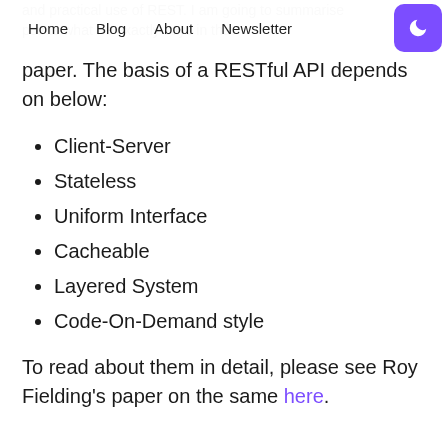Home  Blog  About  Newsletter
and practical use of REST. I am going to summarise points what he exactly says in that paper. The basis of a RESTful API depends on below:
Client-Server
Stateless
Uniform Interface
Cacheable
Layered System
Code-On-Demand style
To read about them in detail, please see Roy Fielding's paper on the same here.